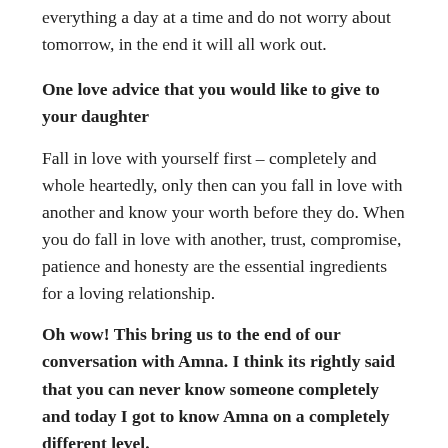everything a day at a time and do not worry about tomorrow, in the end it will all work out.
One love advice that you would like to give to your daughter
Fall in love with yourself first – completely and whole heartedly, only then can you fall in love with another and know your worth before they do. When you do fall in love with another, trust, compromise, patience and honesty are the essential ingredients for a loving relationship.
Oh wow! This bring us to the end of our conversation with Amna. I think its rightly said that you can never know someone completely and today I got to know Amna on a completely different level.